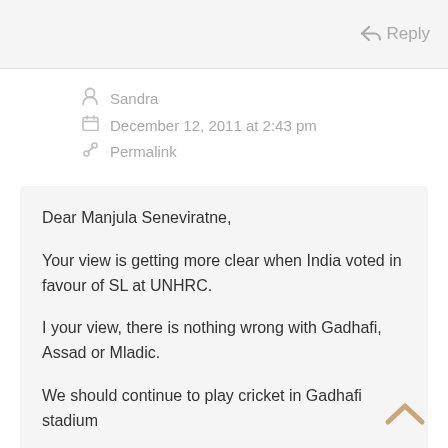Reply
Sandra
December 12, 2011 at 2:43 pm
Permalink
Dear Manjula Seneviratne,

Your view is getting more clear when India voted in favour of SL at UNHRC.

I your view, there is nothing wrong with Gadhafi, Assad or Mladic.

We should continue to play cricket in Gadhafi stadium

Thank you